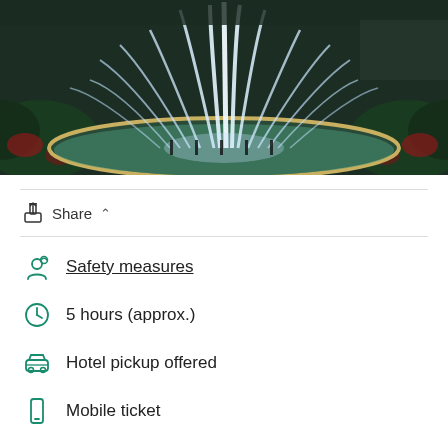[Figure (photo): Illuminated fountain with arcing water jets at night, surrounded by greenery and parking area]
Share
Safety measures
5 hours (approx.)
Hotel pickup offered
Mobile ticket
Offered in: English and 4 more
Good for avoiding crowds